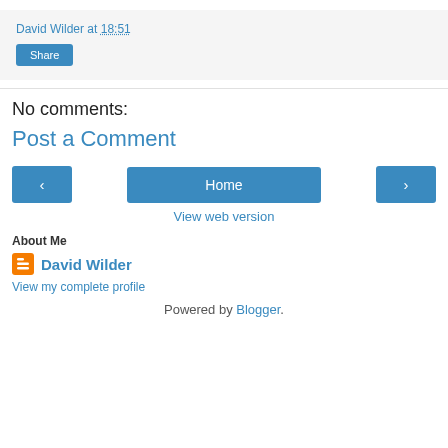David Wilder at 18:51
Share
No comments:
Post a Comment
‹ Home ›
View web version
About Me
David Wilder
View my complete profile
Powered by Blogger.